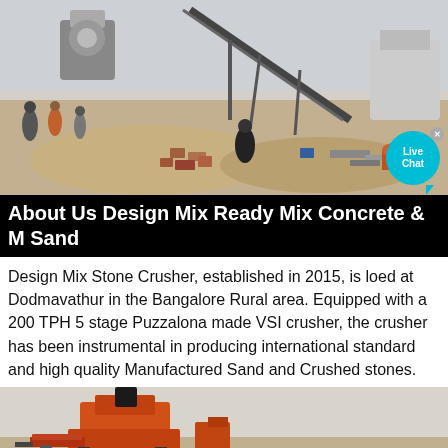[Figure (photo): Outdoor construction/quarry site with stone crusher machinery, conveyor belts, workers, and piles of sand and rubble. Industrial equipment visible including a crusher and conveyor on a sandy open area.]
About Us Design Mix Ready Mix Concrete & M Sand
Design Mix Stone Crusher, established in 2015, is loed at Dodmavathur in the Bangalore Rural area. Equipped with a 200 TPH 5 stage Puzzalona made VSI crusher, the crusher has been instrumental in producing international standard and high quality Manufactured Sand and Crushed stones.
[Figure (photo): Partial view of orange and brown industrial stone crusher machinery against a light sky background.]